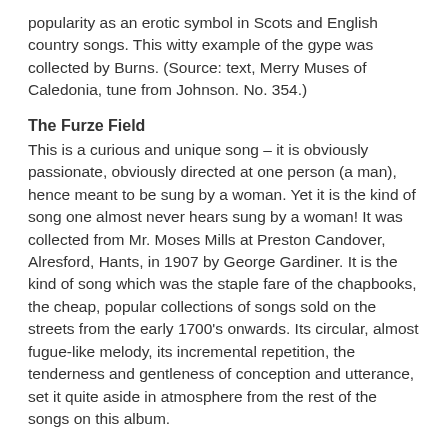popularity as an erotic symbol in Scots and English country songs. This witty example of the gype was collected by Burns. (Source: text, Merry Muses of Caledonia, tune from Johnson. No. 354.)
The Furze Field
This is a curious and unique song – it is obviously passionate, obviously directed at one person (a man), hence meant to be sung by a woman. Yet it is the kind of song one almost never hears sung by a woman! It was collected from Mr. Moses Mills at Preston Candover, Alresford, Hants, in 1907 by George Gardiner. It is the kind of song which was the staple fare of the chapbooks, the cheap, popular collections of songs sold on the streets from the early 1700's onwards. Its circular, almost fugue-like melody, its incremental repetition, the tenderness and gentleness of conception and utterance, set it quite aside in atmosphere from the rest of the songs on this album.
The Long Peg and Awl
Nearly every male country singer in southern England has such songs as this in his repertoire, although hardly ever do